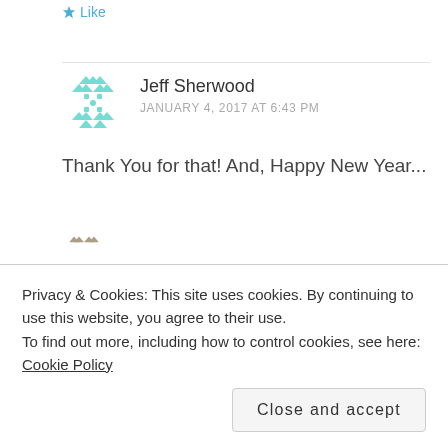Like
Jeff Sherwood
JANUARY 4, 2017 AT 6:43 PM
Thank You for that! And, Happy New Year...
Privacy & Cookies: This site uses cookies. By continuing to use this website, you agree to their use.
To find out more, including how to control cookies, see here: Cookie Policy
Close and accept